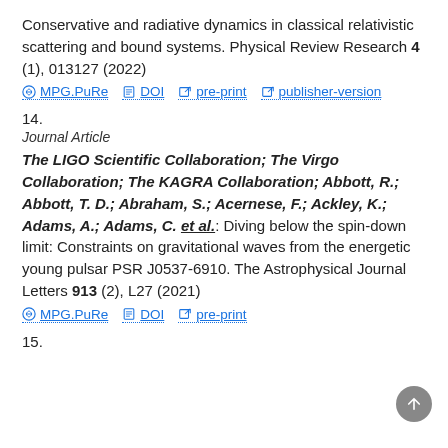Conservative and radiative dynamics in classical relativistic scattering and bound systems. Physical Review Research 4 (1), 013127 (2022)
MPG.PuRe  DOI  pre-print  publisher-version
14.
Journal Article
The LIGO Scientific Collaboration; The Virgo Collaboration; The KAGRA Collaboration; Abbott, R.; Abbott, T. D.; Abraham, S.; Acernese, F.; Ackley, K.; Adams, A.; Adams, C. et al.: Diving below the spin-down limit: Constraints on gravitational waves from the energetic young pulsar PSR J0537-6910. The Astrophysical Journal Letters 913 (2), L27 (2021)
MPG.PuRe  DOI  pre-print
15.